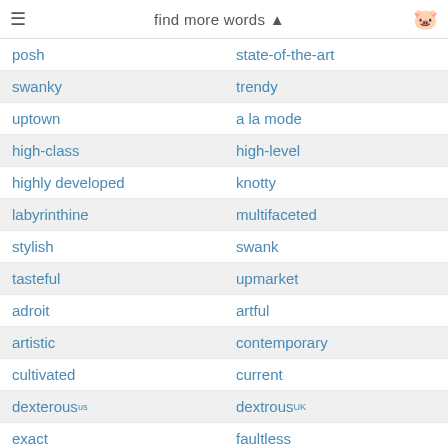find more words
posh | state-of-the-art
swanky | trendy
uptown | a la mode
high-class | high-level
highly developed | knotty
labyrinthine | multifaceted
stylish | swank
tasteful | upmarket
adroit | artful
artistic | contemporary
cultivated | current
dexterous US | dextrous UK
exact | faultless
flawless | latest